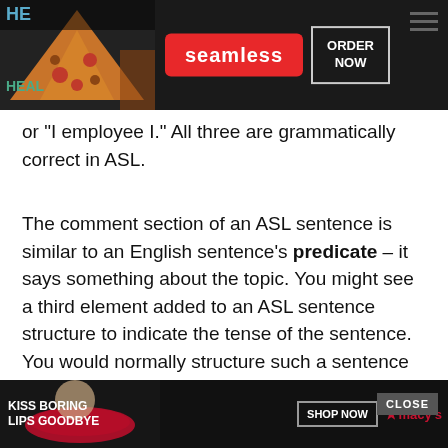[Figure (screenshot): Top ad banner for Seamless food delivery with pizza image, red Seamless badge, and ORDER NOW box on dark background]
or “I employee I.” All three are grammatically correct in ASL.
The comment section of an ASL sentence is similar to an English sentence’s predicate – it says something about the topic. You might see a third element added to an ASL sentence structure to indicate the tense of the sentence. You would normally structure such a sentence as time topic comment. Depending on what you are trying to communicate and the style your receiver is used to seeing, you may alter the order of your signs for clarity. ASL grammar is not strict when it comes to sign order for time, topic and comment sections of a sentence, the… any speakers… is the most a…
[Figure (screenshot): Bottom ad banner for Macy's with KISS BORING LIPS GOODBYE text, model photo, SHOP NOW button, and Macy's logo with star]